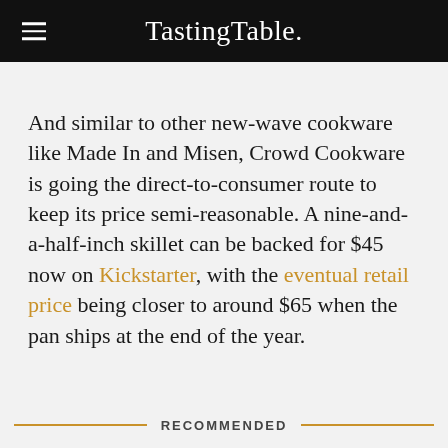Tasting Table.
And similar to other new-wave cookware like Made In and Misen, Crowd Cookware is going the direct-to-consumer route to keep its price semi-reasonable. A nine-and-a-half-inch skillet can be backed for $45 now on Kickstarter, with the eventual retail price being closer to around $65 when the pan ships at the end of the year.
RECOMMENDED